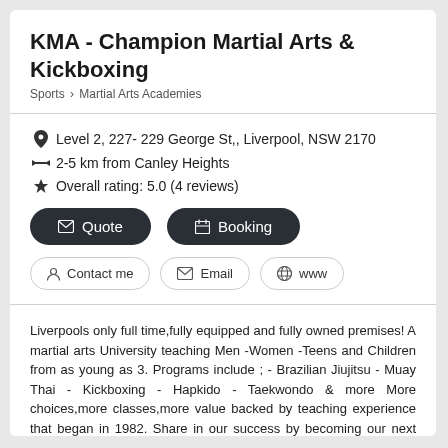KMA - Champion Martial Arts & Kickboxing
Sports > Martial Arts Academies
Level 2, 227- 229 George St,, Liverpool, NSW 2170
2-5 km from Canley Heights
Overall rating: 5.0 (4 reviews)
Quote
Booking
Contact me
Email
www
Liverpools only full time,fully equipped and fully owned premises! A martial arts University teaching Men -Women -Teens and Children from as young as 3. Programs include ; - Brazilian Jiujitsu - Muay Thai - Kickboxing - Hapkido - Taekwondo & more More choices,more classes,more value backed by teaching experience that began in 1982. Share in our success by becoming our next success story Read more